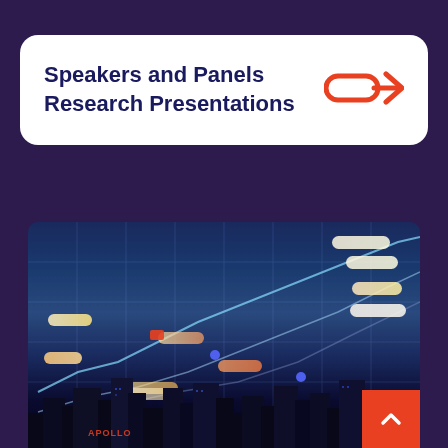Speakers and Panels
Research Presentations
[Figure (illustration): Financial data visualization graphic showing a city skyline at night with overlaid glowing pill-shaped data labels, stock chart lines, and a grid overlay, representing financial market data. A red scroll-to-top button with an upward chevron is in the bottom-right corner.]